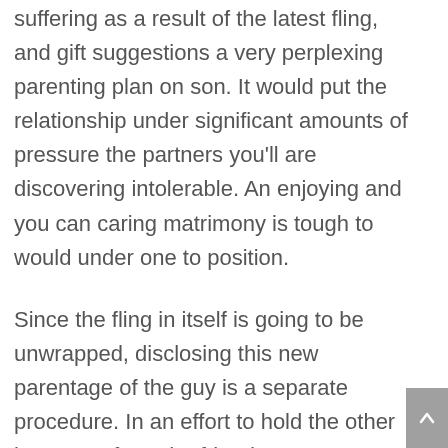suffering as a result of the latest fling, and gift suggestions a very perplexing parenting plan on son. It would put the relationship under significant amounts of pressure the partners you'll are discovering intolerable. An enjoying and you can caring matrimony is tough to would under one to position.
Since the fling in itself is going to be unwrapped, disclosing this new parentage of the guy is a separate procedure. In an effort to hold the other boy away from the friends, parentage can be left as much as your to show. Some one understanding the condition commonly reckon that the little one is his,